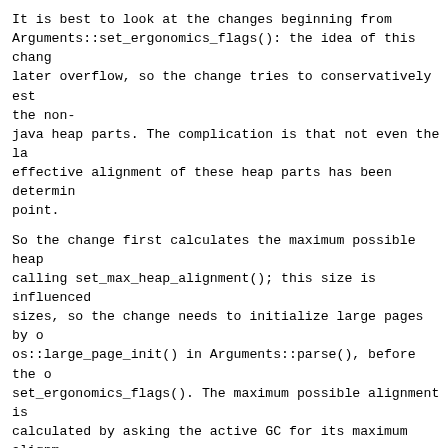It is best to look at the changes beginning from Arguments::set_ergonomics_flags(): the idea of this change later overflow, so the change tries to conservatively est the non-
java heap parts. The complication is that not even the la effective alignment of these heap parts has been determin point.
So the change first calculates the maximum possible heap calling set_max_heap_alignment(); this size is influenced sizes, so the change needs to initialize large pages by o os::large_page_init() in Arguments::parse(), before the o set_ergonomics_flags(). The maximum possible alignment is calculated by asking the active GC for its maximum alignm point the GC has already been determined, the maximum pag other requirements, like alignment for card table size et
Now the code can calculate the conservative estimate for heap for compressed oops used in set_use_compressed_oops subtracting the conservatively aligned sizes of the other (In Arguments::max_heap_for_compressed_oops()) The result possible heap that can use compressed oops, minus the ali size, minus the aligned null page size.
There is another circular dependency problem here, the me
The other changes are straightforward: the os_* changes r large page initialization must be done earlier now; the o collectors themselves are simply about providing the col alignment. The change in Universe::reserve_heap() contai